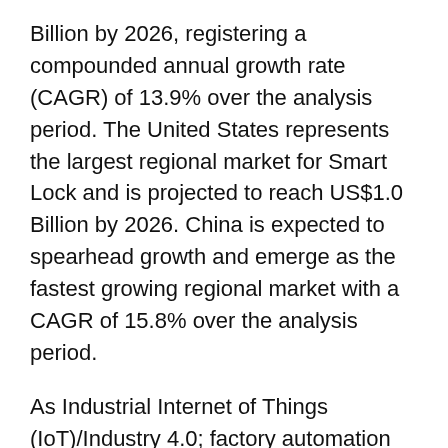Billion by 2026, registering a compounded annual growth rate (CAGR) of 13.9% over the analysis period. The United States represents the largest regional market for Smart Lock and is projected to reach US$1.0 Billion by 2026. China is expected to spearhead growth and emerge as the fastest growing regional market with a CAGR of 15.8% over the analysis period.
As Industrial Internet of Things (IoT)/Industry 4.0; factory automation and smart factory gains momentum, equal emphasis will be placed on smart security system. As production and process machinery and equipment in plants and factories become increasingly intelligent, automated and data rich and data-driven, access control for these system also becomes equally important. Ensuring